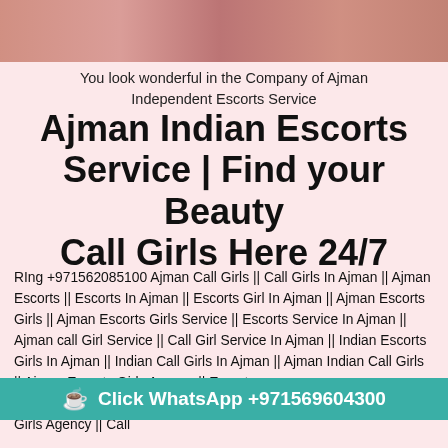[Figure (photo): Photo strip showing women at top of page]
You look wonderful in the Company of Ajman Independent Escorts Service
Ajman Indian Escorts Service | Find your Beauty Call Girls Here 24/7
RIng +971562085100 Ajman Call Girls || Call Girls In Ajman || Ajman Escorts || Escorts In Ajman || Escorts Girl In Ajman || Ajman Escorts Girls || Ajman Escorts Girls Service || Escorts Service In Ajman || Ajman call Girl Service || Call Girl Service In Ajman || Indian Escorts Girls In Ajman || Indian Call Girls In Ajman || Ajman Indian Call Girls || Ajman Escorts Girls Agency || Escorts A... Ajman Female Escorts || Ajman Call Girls Agency || Call
Click WhatsApp +971569604300